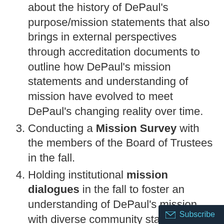about the history of DePaul's purpose/mission statements that also brings in external perspectives through accreditation documents to outline how DePaul's mission statements and understanding of mission have evolved to meet DePaul's changing reality over time.
Conducting a Mission Survey with the members of the Board of Trustees in the fall.
Holding institutional mission dialogues in the fall to foster an understanding of DePaul's mission with diverse community stakeholders as we seek to ensure DePaul's mission statement reflects mission in a 21st century context